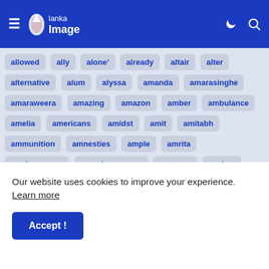Lanka Image — navigation bar with hamburger menu, logo, moon icon, search icon
allowed
ally
alone&#8217;
already
altair
alter
alternative
alum
alyssa
amanda
amarasinghe
amaraweera
amazing
amazon
amber
ambulance
amelia
americans
amidst
amit
amitabh
ammunition
amnesties
ample
amrita
amritsar-rome
anandasangaree
anatomy
ancient
and
anderson
andrews
android
and dust
angelina
animal
anju
ankle
anna
annex
Our website uses cookies to improve your experience. Learn more
Accept !